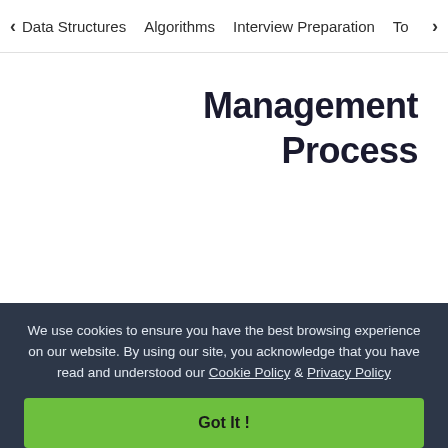< Data Structures   Algorithms   Interview Preparation   To>
Management Process
We use cookies to ensure you have the best browsing experience on our website. By using our site, you acknowledge that you have read and understood our Cookie Policy & Privacy Policy
Got It !